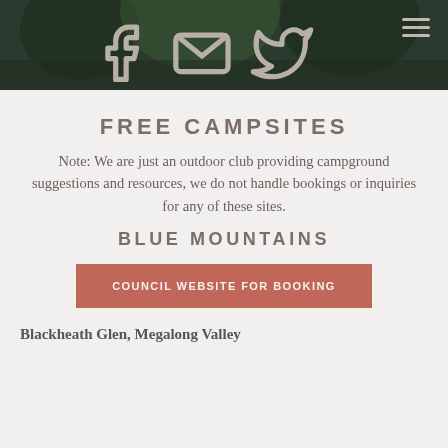[Figure (photo): Dark green outdoor/camping scene used as header background image with social media icons (Facebook, Mail, Twitter) and hamburger menu overlay]
FREE CAMPSITES
Note: We are just an outdoor club providing campground suggestions and resources, we do not handle bookings or inquiries for any of these sites.
BLUE MOUNTAINS
COUNCIL WEBSITE FOR BOOKING
Blackheath Glen, Megalong Valley